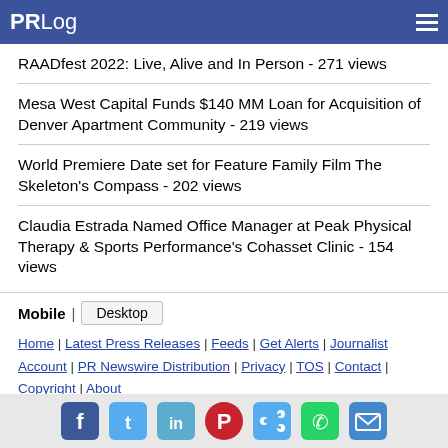PRLog
RAADfest 2022: Live, Alive and In Person - 271 views
Mesa West Capital Funds $140 MM Loan for Acquisition of Denver Apartment Community - 219 views
World Premiere Date set for Feature Family Film The Skeleton's Compass - 202 views
Claudia Estrada Named Office Manager at Peak Physical Therapy & Sports Performance's Cohasset Clinic - 154 views
Mobile | Desktop
Home | Latest Press Releases | Feeds | Get Alerts | Journalist Account | PR Newswire Distribution | Privacy | TOS | Contact | Copyright | About